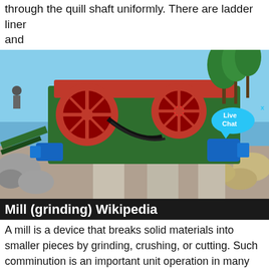through the quill shaft uniformly. There are ladder liner and
[Figure (photo): Photograph of a large green and red industrial grinding mill machine outdoors, surrounded by rocks and concrete pillars, with palm trees in the background and blue sky. A 'Live Chat' popup bubble is visible in the lower right corner of the image.]
Mill (grinding) Wikipedia
A mill is a device that breaks solid materials into smaller pieces by grinding, crushing, or cutting. Such comminution is an important unit operation in many processes.There are many different types of mills and many types of materials processed in them. Historically mills were used by hand (e.g., the grain stone), and